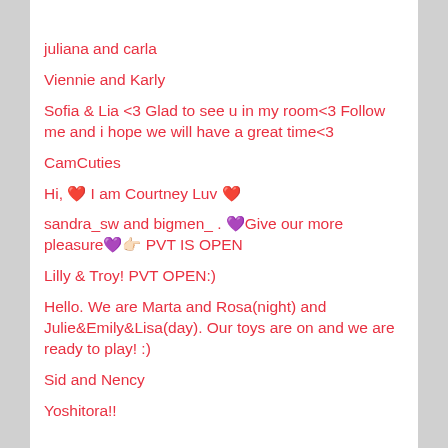juliana and carla
Viennie and Karly
Sofia & Lia <3 Glad to see u in my room<3 Follow me and i hope we will have a great time<3
CamCuties
Hi, ❤ I am Courtney Luv ❤
sandra_sw and bigmen_ . 💜Give our more pleasure💜👉🏻 PVT IS OPEN
Lilly & Troy! PVT OPEN:)
Hello. We are Marta and Rosa(night) and Julie&Emily&Lisa(day). Our toys are on and we are ready to play! :)
Sid and Nency
Yoshitora!!